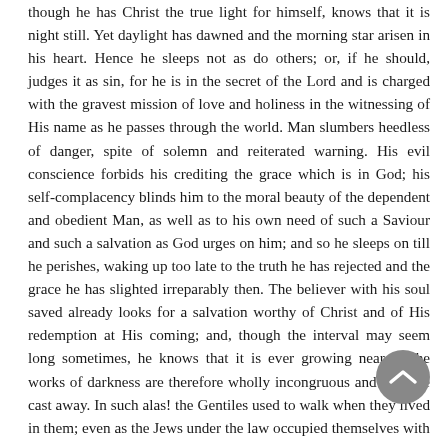though he has Christ the true light for himself, knows that it is night still. Yet daylight has dawned and the morning star arisen in his heart. Hence he sleeps not as do others; or, if he should, judges it as sin, for he is in the secret of the Lord and is charged with the gravest mission of love and holiness in the witnessing of His name as he passes through the world. Man slumbers heedless of danger, spite of solemn and reiterated warning. His evil conscience forbids his crediting the grace which is in God; his self-complacency blinds him to the moral beauty of the dependent and obedient Man, as well as to his own need of such a Saviour and such a salvation as God urges on him; and so he sleeps on till he perishes, waking up too late to the truth he has rejected and the grace he has slighted irreparably then. The believer with his soul saved already looks for a salvation worthy of Christ and of His redemption at His coming; and, though the interval may seem long sometimes, he knows that it is ever growing nearer. The works of darkness are therefore wholly incongruous and must be cast away. In such alas! the Gentiles used to walk when they lived in them; even as the Jews under the law occupied themselves with